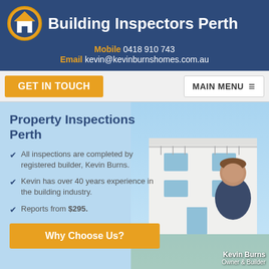Building Inspectors Perth
Mobile 0418 910 743
Email kevin@kevinburnshomes.com.au
Property Inspections Perth
All inspections are completed by registered builder, Kevin Burns.
Kevin has over 40 years experience in the building industry.
Reports from $295.
Why Choose Us?
Kevin Burns Owner & Builder
[Figure (photo): Portrait photo of Kevin Burns, a middle-aged man in a dark blue shirt, standing in front of a modern white house exterior]